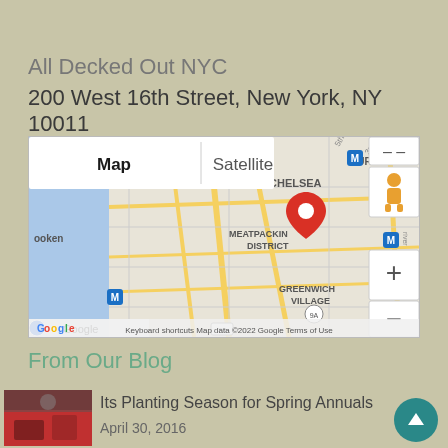All Decked Out NYC
200 West 16th Street, New York, NY 10011
[Figure (map): Google Map showing location at 200 West 16th Street, New York, NY 10011. Map shows Chelsea, Meatpacking District, Greenwich Village, Gramercy Park, Murray Hill areas. Red location pin marker visible. Map/Satellite toggle buttons shown. Zoom +/- controls and street view pegman visible. Bottom shows: Keyboard shortcuts | Map data ©2022 Google | Terms of Use]
From Our Blog
Its Planting Season for Spring Annuals
April 30, 2016